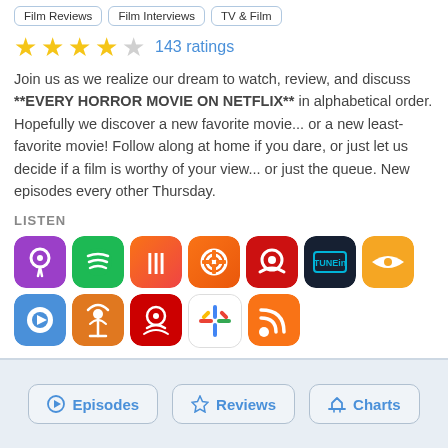Film Reviews
Film Interviews
TV & Film
143 ratings (4 out of 5 stars)
Join us as we realize our dream to watch, review, and discuss **EVERY HORROR MOVIE ON NETFLIX** in alphabetical order. Hopefully we discover a new favorite movie... or a new least-favorite movie! Follow along at home if you dare, or just let us decide if a film is worthy of your view... or just the queue. New episodes every other Thursday.
LISTEN
[Figure (infographic): Row of podcast/streaming app icons: Apple Podcasts (purple), Spotify (green), Castbox (orange-red), Pocket Casts (orange), Overcast (red), TuneIn (dark navy), Audible (orange-yellow), Player.fm (blue), Antenna Pod (orange-dark), Podcast Addict (red). Second row: Google Podcasts (white/colorful), RSS (orange).]
Episodes
Reviews
Charts